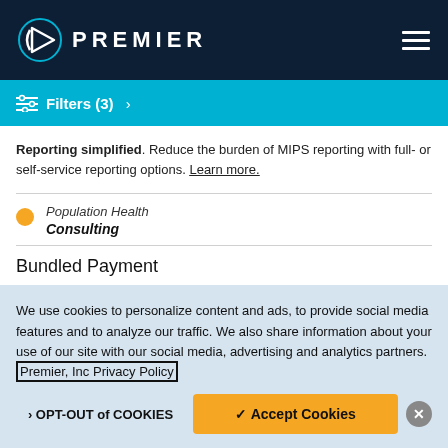PREMIER
Filters (3) >
Reporting simplified. Reduce the burden of MIPS reporting with full- or self-service reporting options. Learn more.
Population Health
Consulting
Bundled Payment
Outperforming the industry. 63% of Premier's CIR participants
We use cookies to personalize content and ads, to provide social media features and to analyze our traffic. We also share information about your use of our site with our social media, advertising and analytics partners. Premier, Inc Privacy Policy
> OPT-OUT of COOKIES
✓ Accept Cookies